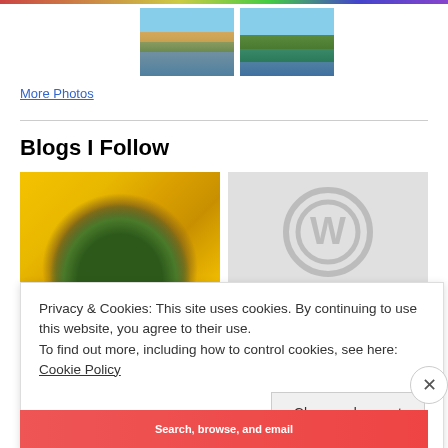[Figure (photo): Two thumbnail photos of city/park scenes with water and skyline]
More Photos
Blogs I Follow
[Figure (photo): Close-up of a sunflower center showing yellow petals and dark seed pattern]
[Figure (logo): WordPress logo placeholder on grey background]
Privacy & Cookies: This site uses cookies. By continuing to use this website, you agree to their use.
To find out more, including how to control cookies, see here: Cookie Policy
Close and accept